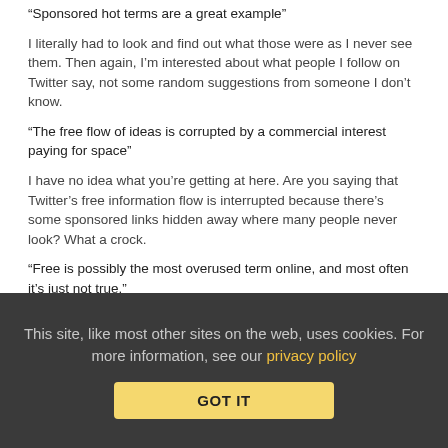“Sponsored hot terms are a great example”
I literally had to look and find out what those were as I never see them. Then again, I’m interested about what people I follow on Twitter say, not some random suggestions from someone I don’t know.
“The free flow of ideas is corrupted by a commercial interest paying for space”
I have no idea what you’re getting at here. Are you saying that Twitter’s free information flow is interrupted because there’s some sponsored links hidden away where many people never look? What a crock.
“Free is possibly the most overused term online, and most often it’s just not true.”
This site, like most other sites on the web, uses cookies. For more information, see our privacy policy
GOT IT